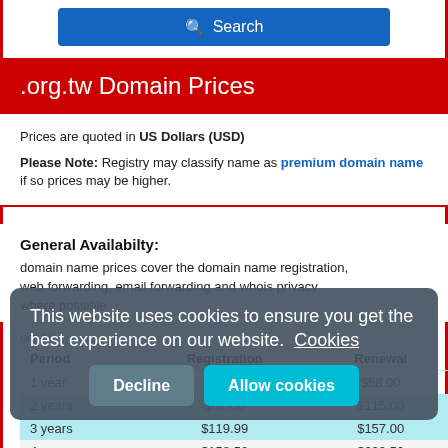.org.tw Domain Prices
Prices are quoted in US Dollars (USD)
Please Note: Registry may classify name as premium domain name if so prices may be higher.
General Availabilty:
domain name prices cover the domain name registration, web forwarding, email forwarding and whois privacy where possible
org.tw
| Period | Registration | Renewal |
| --- | --- | --- |
| 1 year | $43.50 | $58.00 |
| 2 years | $87.00 | $115.00 |
| 3 years | $119.99 | $157.00 |
| 4 years | $158.50 | $209.50 |
| 5 years | $198.00 | $261.50 |